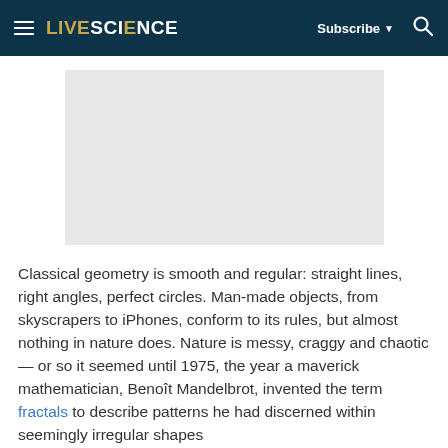LIVESCIENCE | Subscribe ▼ 🔍
[Figure (other): Gray placeholder advertisement or image block]
Classical geometry is smooth and regular: straight lines, right angles, perfect circles. Man-made objects, from skyscrapers to iPhones, conform to its rules, but almost nothing in nature does. Nature is messy, craggy and chaotic — or so it seemed until 1975, the year a maverick mathematician, Benoît Mandelbrot, invented the term fractals to describe patterns he had discerned within seemingly irregular shapes